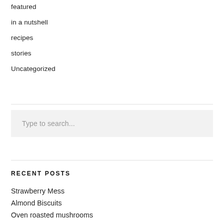featured
in a nutshell
recipes
stories
Uncategorized
Type to search...
RECENT POSTS
Strawberry Mess
Almond Biscuits
Oven roasted mushrooms